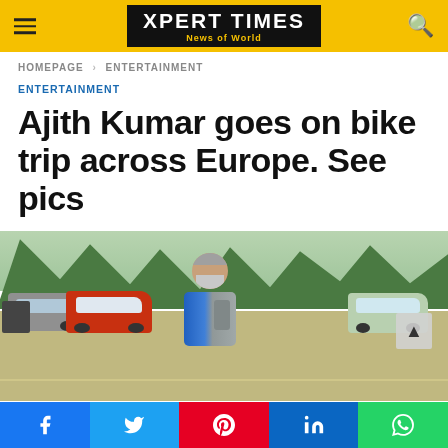XPERT TIMES — News of World
HOMEPAGE › ENTERTAINMENT
ENTERTAINMENT
Ajith Kumar goes on bike trip across Europe. See pics
[Figure (photo): A man with grey hair and beard wearing a blue and grey motorcycle jacket standing in a parking lot with cars and trees in the background]
Social share buttons: Facebook, Twitter, Pinterest, LinkedIn, WhatsApp